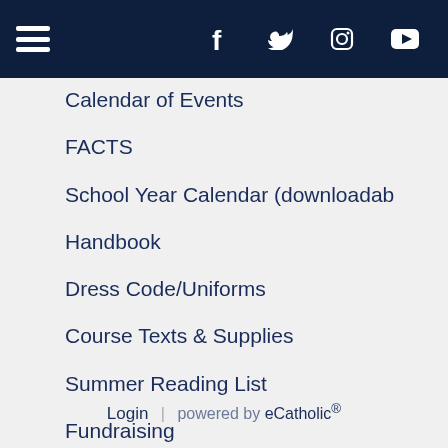Navigation bar with hamburger menu and social icons: Facebook, Twitter, Instagram, YouTube
Calendar of Events
FACTS
School Year Calendar (downloadable)
Handbook
Dress Code/Uniforms
Course Texts & Supplies
Summer Reading List
Fundraising
Recent Photos
Login | powered by eCatholic®